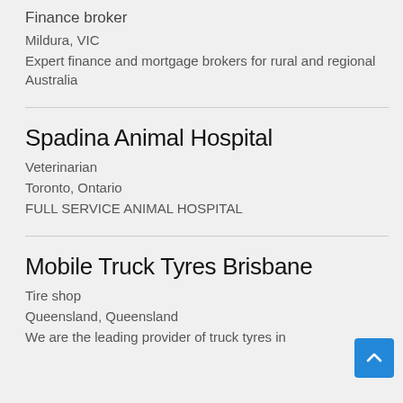Finance broker
Mildura, VIC
Expert finance and mortgage brokers for rural and regional Australia
Spadina Animal Hospital
Veterinarian
Toronto, Ontario
FULL SERVICE ANIMAL HOSPITAL
Mobile Truck Tyres Brisbane
Tire shop
Queensland, Queensland
We are the leading provider of truck tyres in